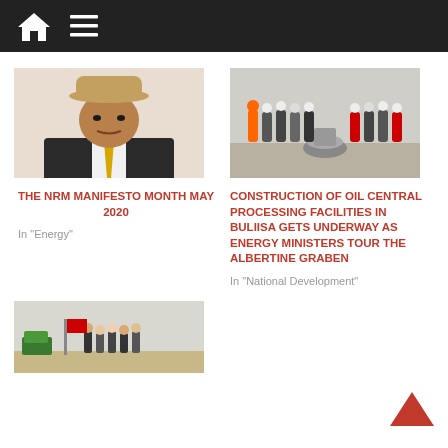Navigation bar with home and menu icons
[Figure (photo): Portrait photo of a man wearing a hat and suit with yellow tie]
THE NRM MANIFESTO MONTH MAY 2020
In "Energy"
[Figure (photo): Group of people in hard hats and officials touring an oil processing facility]
CONSTRUCTION OF OIL CENTRAL PROCESSING FACILITIES IN BULIISA GETS UNDERWAY AS ENERGY MINISTERS TOUR THE ALBERTINE GRABEN
In "National Development"
[Figure (photo): Group of people standing outdoors on a field]
[Figure (other): Back to top arrow icon]